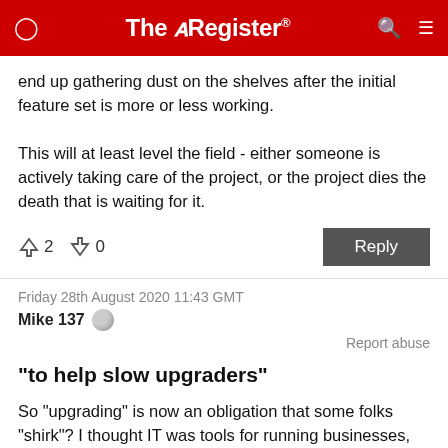The Register
end up gathering dust on the shelves after the initial feature set is more or less working.

This will at least level the field - either someone is actively taking care of the project, or the project dies the death that is waiting for it.
↑2  ↓0
Reply
Friday 28th August 2020 11:43 GMT
Mike 137
Report abuse
"to help slow upgraders"
So "upgrading" is now an obligation that some folks "shirk"? I thought IT was tools for running businesses, but it appears that's only part of its function. The other (and possibly greater) part seems to be to keep vendors' income streams flowing.